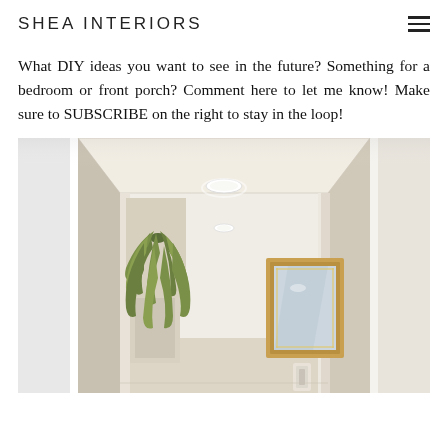SHEA INTERIORS
What DIY ideas you want to see in the future? Something for a bedroom or front porch? Comment here to let me know! Make sure to SUBSCRIBE on the right to stay in the loop!
[Figure (photo): Interior hallway with cream walls, ceiling light fixtures, green hanging plant on left side, and a gold-framed mirror on the right wall at the end of the corridor.]